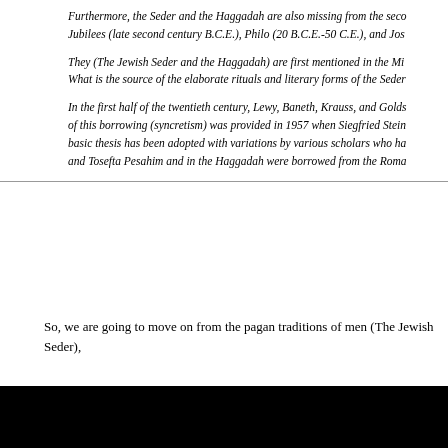Furthermore, the Seder and the Haggadah are also missing from the seco Jubilees (late second century B.C.E.), Philo (20 B.C.E.-50 C.E.), and Jos
They (The Jewish Seder and the Haggadah) are first mentioned in the Mi What is the source of the elaborate rituals and literary forms of the Seder
In the first half of the twentieth century, Lewy, Baneth, Krauss, and Golds of this borrowing (syncretism) was provided in 1957 when Siegfried Stein basic thesis has been adopted with variations by various scholars who ha and Tosefta Pesahim and in the Haggadah were borrowed from the Roma
So, we are going to move on from the pagan traditions of men (The Jewish Seder),
HOME